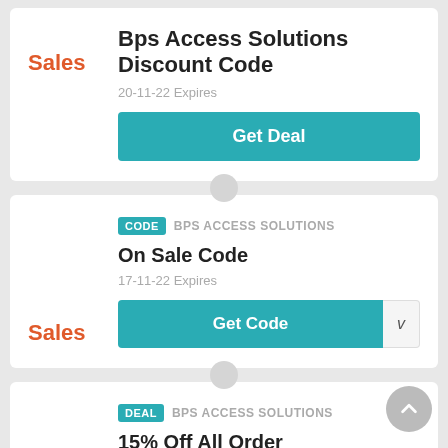Bps Access Solutions Discount Code
20-11-22 Expires
Get Deal
Sales
CODE  BPS ACCESS SOLUTIONS
On Sale Code
17-11-22 Expires
Get Code
Sales
DEAL  BPS ACCESS SOLUTIONS
15% Off All Order